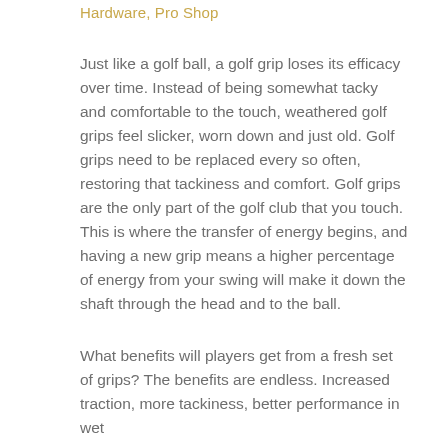Hardware, Pro Shop
Just like a golf ball, a golf grip loses its efficacy over time. Instead of being somewhat tacky and comfortable to the touch, weathered golf grips feel slicker, worn down and just old. Golf grips need to be replaced every so often, restoring that tackiness and comfort. Golf grips are the only part of the golf club that you touch. This is where the transfer of energy begins, and having a new grip means a higher percentage of energy from your swing will make it down the shaft through the head and to the ball.
What benefits will players get from a fresh set of grips? The benefits are endless. Increased traction, more tackiness, better performance in wet